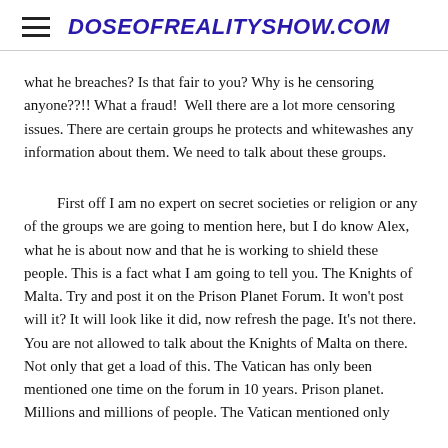DOSEOFREALITYSHOW.COM
what he breaches? Is that fair to you? Why is he censoring anyone??!! What a fraud!  Well there are a lot more censoring issues. There are certain groups he protects and whitewashes any information about them. We need to talk about these groups.
First off I am no expert on secret societies or religion or any of the groups we are going to mention here, but I do know Alex, what he is about now and that he is working to shield these people. This is a fact what I am going to tell you. The Knights of Malta. Try and post it on the Prison Planet Forum. It won't post will it? It will look like it did, now refresh the page. It's not there. You are not allowed to talk about the Knights of Malta on there. Not only that get a load of this. The Vatican has only been mentioned one time on the forum in 10 years. Prison planet. Millions and millions of people. The Vatican mentioned only